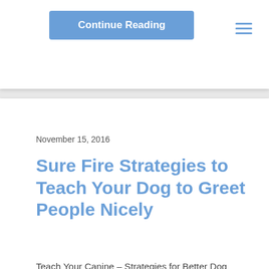Continue Reading
November 15, 2016
Sure Fire Strategies to Teach Your Dog to Greet People Nicely
Teach Your Canine – Strategies for Better Dog Greeting The holidays are coming, and one of the best parts of this time of year is having friends and family over to celebrate together. For inquisitive canine parents with dogs…